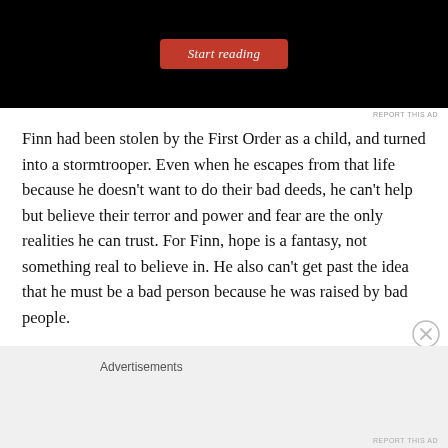[Figure (screenshot): Advertisement screenshot showing a black background with a red 'Start reading' button]
REPORT THIS AD
Finn had been stolen by the First Order as a child, and turned into a stormtrooper. Even when he escapes from that life because he doesn't want to do their bad deeds, he can't help but believe their terror and power and fear are the only realities he can trust. For Finn, hope is a fantasy, not something real to believe in. He also can't get past the idea that he must be a bad person because he was raised by bad people.
Advertisements
REPORT THIS AD